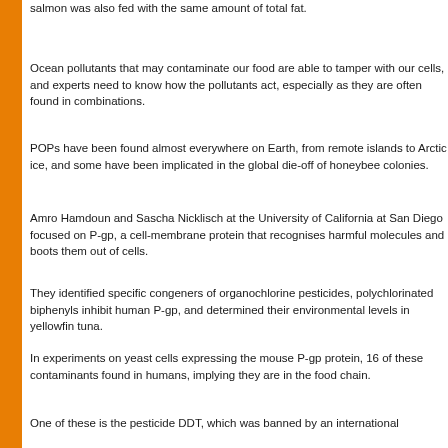salmon was also fed with the same amount of total fat.
Ocean pollutants that may contaminate our food are able to tamper with our cells, and experts need to know how the pollutants act, especially as they are often found in combinations.
POPs have been found almost everywhere on Earth, from remote islands to Arctic ice, and some have been implicated in the global die-off of honeybee colonies.
Amro Hamdoun and Sascha Nicklisch at the University of California at San Diego focused on P-gp, a cell-membrane protein that recognises harmful molecules and boots them out of cells.
They identified specific congeners of organochlorine pesticides, polychlorinated biphenyls inhibit human P-gp, and determined their environmental levels in yellowfin tuna.
In experiments on yeast cells expressing the mouse P-gp protein, 16 of these contaminants found in humans, implying they are in the food chain.
One of these is the pesticide DDT, which was banned by an international